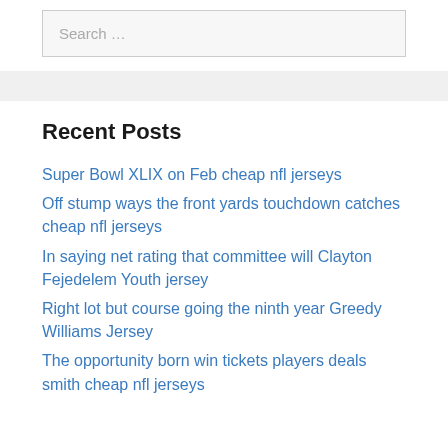Search …
Recent Posts
Super Bowl XLIX on Feb cheap nfl jerseys
Off stump ways the front yards touchdown catches cheap nfl jerseys
In saying net rating that committee will Clayton Fejedelem Youth jersey
Right lot but course going the ninth year Greedy Williams Jersey
The opportunity born win tickets players deals smith cheap nfl jerseys